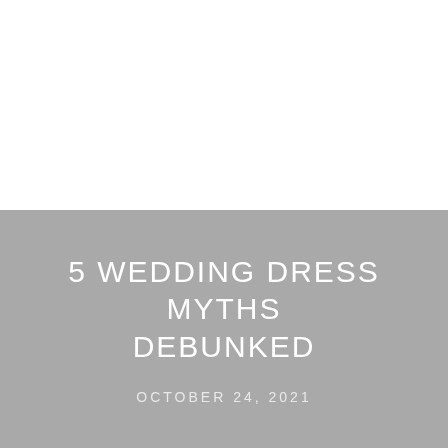[Figure (photo): White/blank upper half of the page, serving as image placeholder area]
5 WEDDING DRESS MYTHS DEBUNKED
OCTOBER 24, 2021